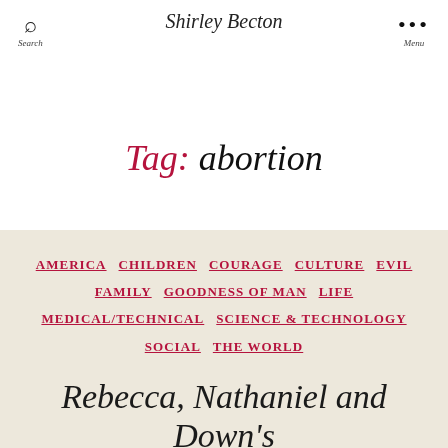Search | Shirley Becton | Menu
Tag: abortion
AMERICA  CHILDREN  COURAGE  CULTURE  EVIL  FAMILY  GOODNESS OF MAN  LIFE  MEDICAL/TECHNICAL  SCIENCE & TECHNOLOGY  SOCIAL  THE WORLD
Rebecca, Nathaniel and Down's Syndrome Development